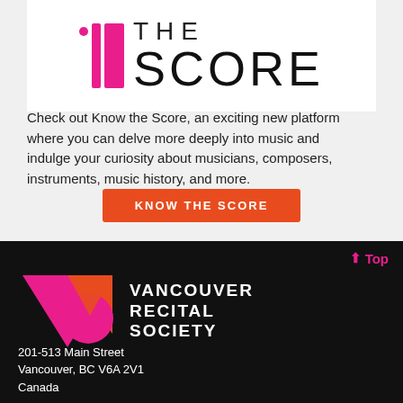[Figure (logo): Know the Score logo with pink vertical bars and large text 'THE SCORE' in black on white background]
Check out Know the Score, an exciting new platform where you can delve more deeply into music and indulge your curiosity about musicians, composers, instruments, music history, and more.
KNOW THE SCORE
[Figure (logo): Vancouver Recital Society logo with pink and orange geometric VRS letters on black background]
↑ Top
201-513 Main Street
Vancouver, BC V6A 2V1
Canada